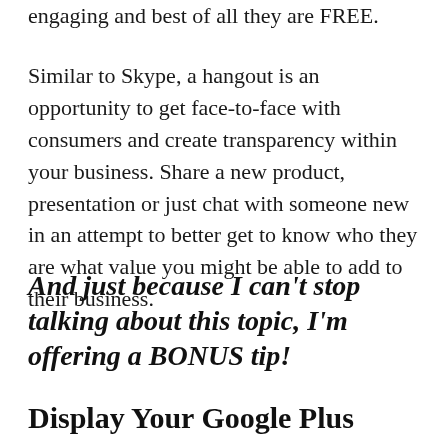engaging and best of all they are FREE.
Similar to Skype, a hangout is an opportunity to get face-to-face with consumers and create transparency within your business. Share a new product, presentation or just chat with someone new in an attempt to better get to know who they are what value you might be able to add to their business.
And just because I can't stop talking about this topic, I'm offering a BONUS tip!
Display Your Google Plus